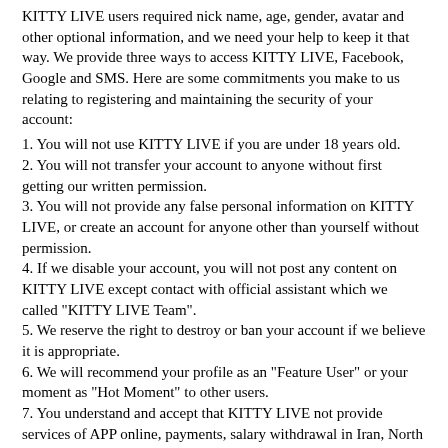KITTY LIVE users required nick name, age, gender, avatar and other optional information, and we need your help to keep it that way. We provide three ways to access KITTY LIVE, Facebook, Google and SMS. Here are some commitments you make to us relating to registering and maintaining the security of your account:
1. You will not use KITTY LIVE if you are under 18 years old.
2. You will not transfer your account to anyone without first getting our written permission.
3. You will not provide any false personal information on KITTY LIVE, or create an account for anyone other than yourself without permission.
4. If we disable your account, you will not post any content on KITTY LIVE except contact with official assistant which we called "KITTY LIVE Team".
5. We reserve the right to destroy or ban your account if we believe it is appropriate.
6. We will recommend your profile as an "Feature User" or your moment as "Hot Moment" to other users.
7. You understand and accept that KITTY LIVE not provide services of APP online, payments, salary withdrawal in Iran, North Korea, Sudan, Syria, Cuba, Myanmar, Yeman, Iraq, Somalia and other places due to the reasons including but not limited to force majeure and security reasons, and the specific Service delivery time shall be comprehensively assessed by KITTY LIVE and other necessary authorities.
Termination
If you violate the Terms, or otherwise create risk or possible legal exposure for us, then we reserve the right at our sole discretion, at any time, to limit, disable or terminate your service in a variety of ways.